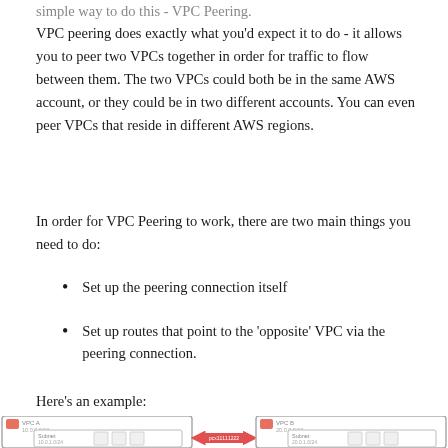simple way to do this - VPC Peering.
VPC peering does exactly what you'd expect it to do - it allows you to peer two VPCs together in order for traffic to flow between them. The two VPCs could both be in the same AWS account, or they could be in two different accounts. You can even peer VPCs that reside in different AWS regions.
In order for VPC Peering to work, there are two main things you need to do:
Set up the peering connection itself
Set up routes that point to the 'opposite' VPC via the peering connection.
Here's an example:
[Figure (engineering-diagram): Diagram showing two VPCs (VPC A with CIDR 10.0.0.0/16 and VPC B with CIDR 20.0.0.0/16) each containing a Subnet (10.0.1.0/24 and 20.0.1.0/24 respectively) with instance icons, connected by a red double-headed arrow labeled pcx11111222]